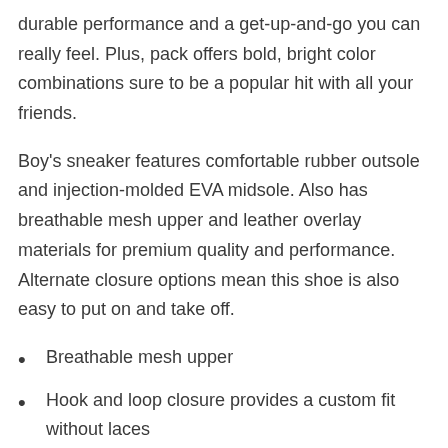durable performance and a get-up-and-go you can really feel. Plus, pack offers bold, bright color combinations sure to be a popular hit with all your friends.
Boy's sneaker features comfortable rubber outsole and injection-molded EVA midsole. Also has breathable mesh upper and leather overlay materials for premium quality and performance. Alternate closure options mean this shoe is also easy to put on and take off.
Breathable mesh upper
Hook and loop closure provides a custom fit without laces
Injection molded EVA (Ethyl Vinyl Acetate)
Rubber outsole